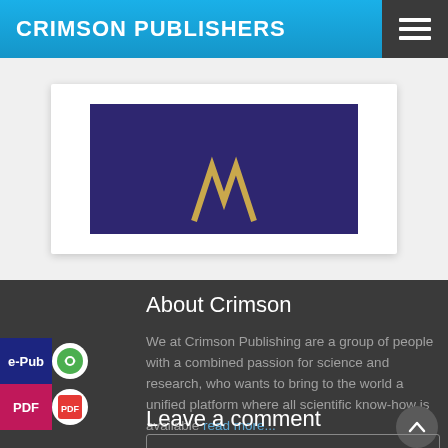CRIMSON PUBLISHERS
[Figure (illustration): Journal cover image with dark navy/purple background and golden arch/gateway symbol, shown inside a white card on a light gray background]
About Crimson
We at Crimson Publishing are a group of people with a combined passion for science and research, who wants to bring to the world a unified platform where all scientific know-how is available read more...
Leave a comment